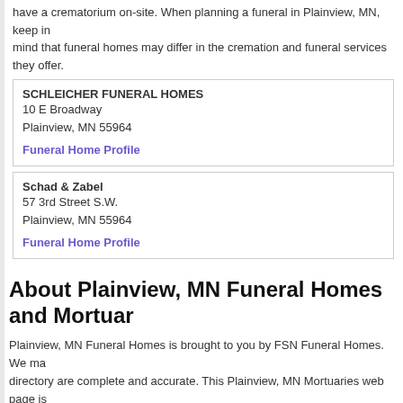have a crematorium on-site. When planning a funeral in Plainview, MN, keep in mind that funeral homes may differ in the cremation and funeral services they offer.
SCHLEICHER FUNERAL HOMES
10 E Broadway
Plainview, MN 55964
Funeral Home Profile
Schad & Zabel
57 3rd Street S.W.
Plainview, MN 55964
Funeral Home Profile
About Plainview, MN Funeral Homes and Mortuaries
Plainview, MN Funeral Homes is brought to you by FSN Funeral Homes. We make sure all funeral homes in our directory are complete and accurate. This Plainview, MN Mortuaries web page is updated regularly. Let the Plainview Funeral Home you do business with know that you found them on the
Suggest A Plainview, MN Funeral Home
If you are aware of a Plainview, MN funeral home that is not listed in this funeral home form.
Do you also need to find Plainview Hospitals? Use FSNHospitals.com.